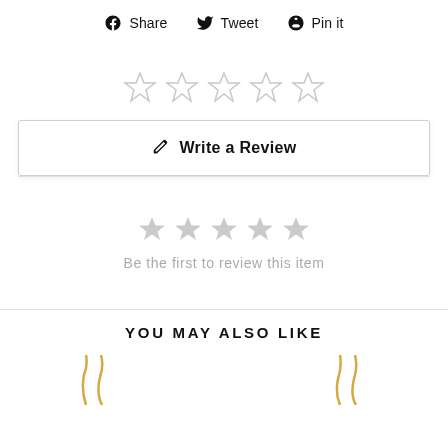Share  Tweet  Pin it
[Figure (other): Five empty outline stars for rating]
Write a Review
[Figure (other): Five filled gray stars]
Be the first to review this item
YOU MAY ALSO LIKE
[Figure (photo): Partial view of gold jewelry chains at the bottom of the page]